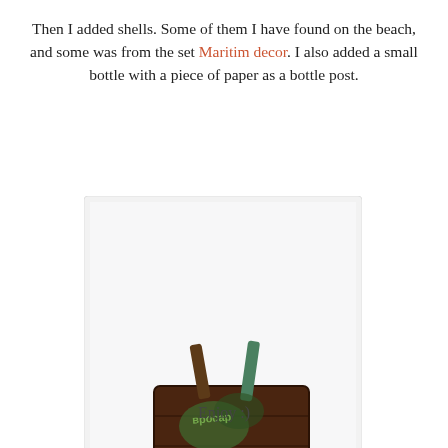Then I added shells. Some of them I have found on the beach, and some was from the set Maritim decor. I also added a small bottle with a piece of paper as a bottle post.
[Figure (photo): A handmade craft box decorated with shells, moss, chains, a blue octopus figure, and green lettering, set on a white background with a small white shell nearby.]
Enjoy :)